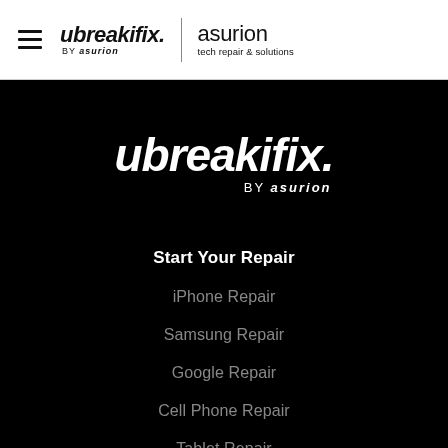[Figure (logo): ubreakifix by asurion logo in header navigation bar with hamburger menu icon]
[Figure (logo): asurion tech repair & solutions logo in header navigation bar]
[Figure (logo): ubreakifix by asurion large white logo centered on black background]
Start Your Repair
iPhone Repair
Samsung Repair
Google Repair
Cell Phone Repair
Tablet Repair